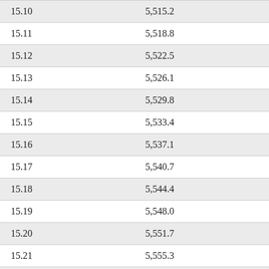| 15.10 | 5,515.2 |
| 15.11 | 5,518.8 |
| 15.12 | 5,522.5 |
| 15.13 | 5,526.1 |
| 15.14 | 5,529.8 |
| 15.15 | 5,533.4 |
| 15.16 | 5,537.1 |
| 15.17 | 5,540.7 |
| 15.18 | 5,544.4 |
| 15.19 | 5,548.0 |
| 15.20 | 5,551.7 |
| 15.21 | 5,555.3 |
| 15.22 | 5,559.0 |